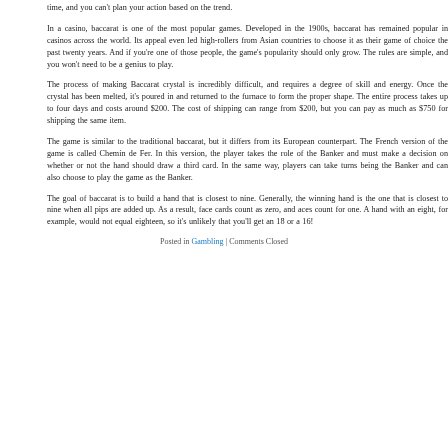time, and you can't plan your action based on the trend.
In a casino, baccarat is one of the most popular games. Developed in the 1900s, baccarat has remained popular in casinos across the world. Its appeal even led high-rollers from Asian countries to choose it as their game of choice the past twenty years. And if you're one of those people, the game's popularity should only grow. The rules are simple, and you won't need to be a genius to play.
The process of making Baccarat crystal is incredibly difficult, and requires a degree of skill and energy. Once the crystal has been melted, it's poured in and returned to the furnace to form the proper shape. The entire process takes up to four days and costs around $200. The cost of shipping can range from $200, but you can pay as much as $750 for shipping the same item.
The game is similar to the traditional baccarat, but it differs from its European counterpart. The French version of the game is called Chemin de Fer. In this version, the player takes the role of the Banker and must make a decision on whether or not the hand should draw a third card. In the same way, players can take turns being the Banker and can also choose to play the game as the Banker.
The goal of baccarat is to build a hand that is closest to nine. Generally, the winning hand is the one that is closest to nine when all pips are added up. As a result, face cards count as zero, and aces count for one. A hand with an eight, for example, would not equal eighteen, so it's unlikely that you'll get an 18 or a 16!
Posted in Gambling | Comments Closed